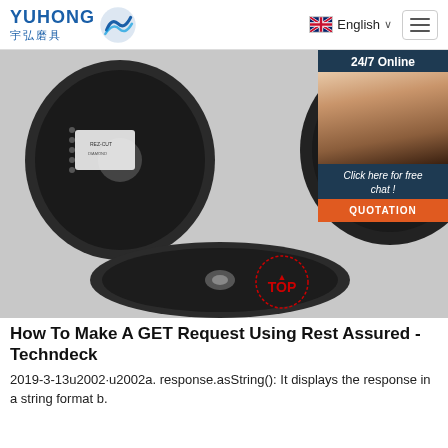YUHONG 宇弘磨具 | English | Navigation menu
[Figure (photo): Product photo showing abrasive cutting discs on a white surface, with a customer service chat widget overlay on the right showing '24/7 Online', a female agent photo, 'Click here for free chat!' text, and an orange QUOTATION button. A red TOP badge is visible at the bottom right.]
How To Make A GET Request Using Rest Assured - Techndeck
2019-3-13u2002·u2002a. response.asString(): It displays the response in a string format b.